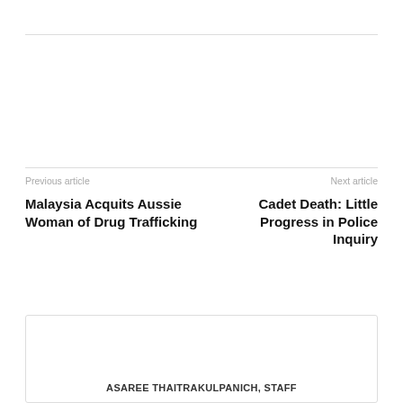Previous article
Malaysia Acquits Aussie Woman of Drug Trafficking
Next article
Cadet Death: Little Progress in Police Inquiry
ASAREE THAITRAKULPANICH, STAFF